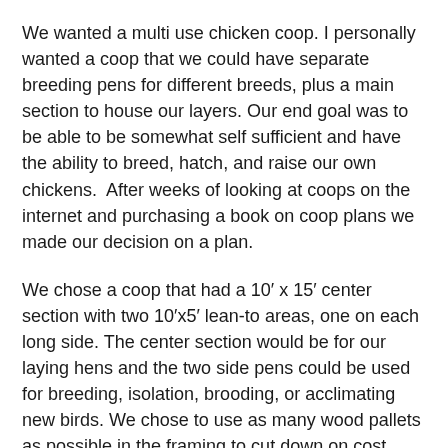We wanted a multi use chicken coop. I personally wanted a coop that we could have separate breeding pens for different breeds, plus a main section to house our layers. Our end goal was to be able to be somewhat self sufficient and have the ability to breed, hatch, and raise our own chickens.  After weeks of looking at coops on the internet and purchasing a book on coop plans we made our decision on a plan.
We chose a coop that had a 10' x 15' center section with two 10'x5' lean-to areas, one on each long side. The center section would be for our laying hens and the two side pens could be used for breeding, isolation, brooding, or acclimating new birds. We chose to use as many wood pallets as possible in the framing to cut down on cost, and to use a steel sheeting exterior to make it maintenance free.
We started our build with 5'x5' wood pallets to make up the floor.  Our coop dimensions were limited by, and directly